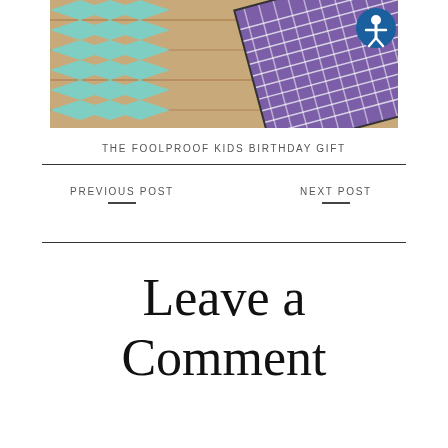[Figure (photo): Photo of a wooden surface with teal/turquoise chevron pattern and a purple geometric patterned notebook or book in the upper right corner. A blue accessibility icon button is overlaid in the top right corner.]
THE FOOLPROOF KIDS BIRTHDAY GIFT
PREVIOUS POST
NEXT POST
Leave a Comment